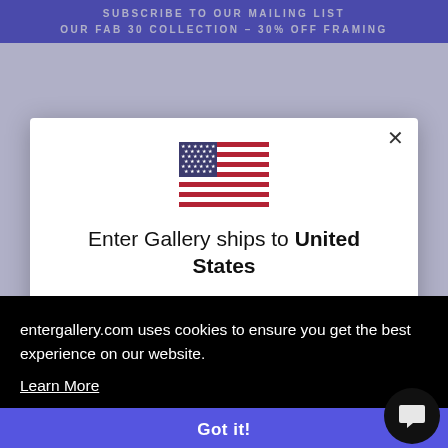SUBSCRIBE TO OUR MAILING LIST
OUR FAB 30 COLLECTION – 30% OFF FRAMING
[Figure (illustration): US flag emoji/icon centered in modal]
Enter Gallery ships to United States
Shop in USD $
Get shipping options for United States
entergallery.com uses cookies to ensure you get the best experience on our website.
Learn More
Got it!
A custom frame is the perfect way to